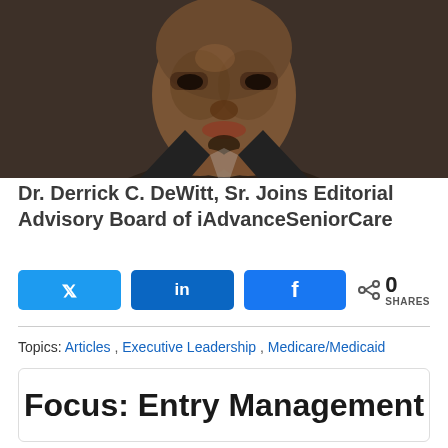[Figure (photo): Portrait photo of Dr. Derrick C. DeWitt, Sr., a man in a dark suit with his hands clasped near his chin, looking at the camera against a dark background.]
Dr. Derrick C. DeWitt, Sr. Joins Editorial Advisory Board of iAdvanceSeniorCare
Social share buttons: Twitter, LinkedIn, Facebook; 0 SHARES
Topics: Articles , Executive Leadership , Medicare/Medicaid
Focus: Entry Management